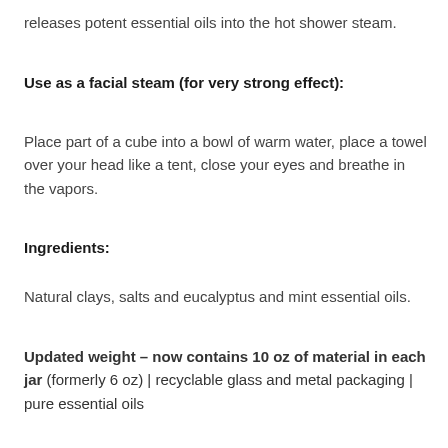releases potent essential oils into the hot shower steam.
Use as a facial steam (for very strong effect):
Place part of a cube into a bowl of warm water, place a towel over your head like a tent, close your eyes and breathe in the vapors.
Ingredients:
Natural clays, salts and eucalyptus and mint essential oils.
Updated weight – now contains 10 oz of material in each jar (formerly 6 oz) | recyclable glass and metal packaging | pure essential oils